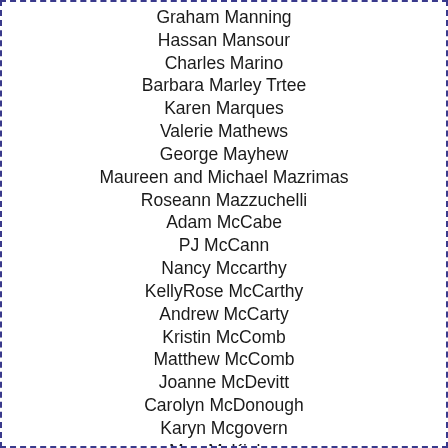Graham Manning
Hassan Mansour
Charles Marino
Barbara Marley Trtee
Karen Marques
Valerie Mathews
George Mayhew
Maureen and Michael Mazrimas
Roseann Mazzuchelli
Adam McCabe
PJ McCann
Nancy Mccarthy
KellyRose McCarthy
Andrew McCarty
Kristin McComb
Matthew McComb
Joanne McDevitt
Carolyn McDonough
Karyn Mcgovern
Mae McKinley
Robert McLaren
Christopher McLaughlin